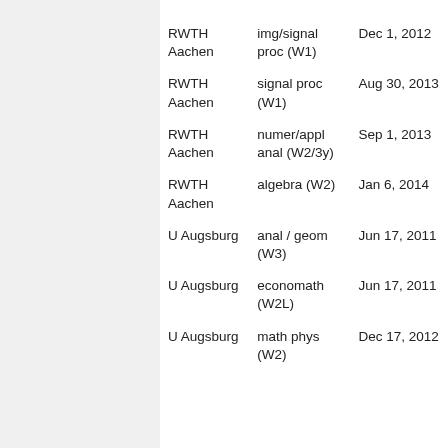| RWTH Aachen | img/signal proc (W1) | Dec 1, 2012 |
| RWTH Aachen | signal proc (W1) | Aug 30, 2013 |
| RWTH Aachen | numer/appl anal (W2/3y) | Sep 1, 2013 |
| RWTH Aachen | algebra (W2) | Jan 6, 2014 |
| U Augsburg | anal / geom (W3) | Jun 17, 2011 |
| U Augsburg | economath (W2L) | Jun 17, 2011 |
| U Augsburg | math phys (W2) | Dec 17, 2012 |